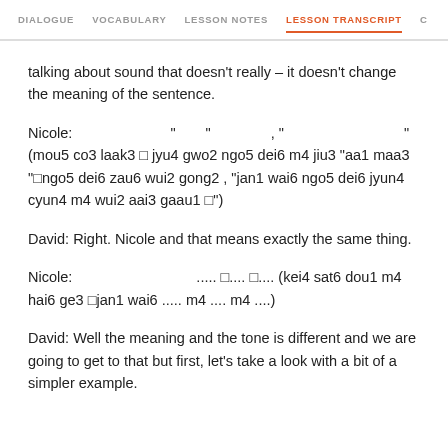DIALOGUE   VOCABULARY   LESSON NOTES   LESSON TRANSCRIPT   C
talking about sound that doesn't really – it doesn't change the meaning of the sentence.
Nicole: 　　　　　　　　　　 "　　"　　　　　　　, "　　　　　　　　　　　" (mou5 co3 laak3 　jyu4 gwo2 ngo5 dei6 m4 jiu3 "aa1 maa3 "　ngo5 dei6 zau6 wui2 gong2 , "jan1 wai6 ngo5 dei6 jyun4 cyun4 m4 wui2 aai3 gaau1 　")
David: Right. Nicole and that means exactly the same thing.
Nicole: 　　　　　　　　　　..... 　.... 　.... (kei4 sat6 dou1 m4 hai6 ge3 　jan1 wai6 ..... m4 .... m4 ....)
David: Well the meaning and the tone is different and we are going to get to that but first, let's take a look with a bit of a simpler example.